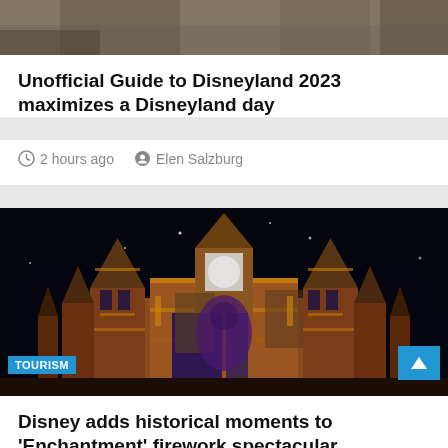[Figure (photo): Top partial image of a theme park area with trees and signage, partially cropped]
Unofficial Guide to Disneyland 2023 maximizes a Disneyland day
2 hours ago   Elen Salzburg
[Figure (photo): Cinderella castle at night illuminated with golden and colorful projections showing historical figures during the Enchantment firework spectacular, with TOURISM badge overlay]
Disney adds historical moments to 'Enchantment' firework spectacular